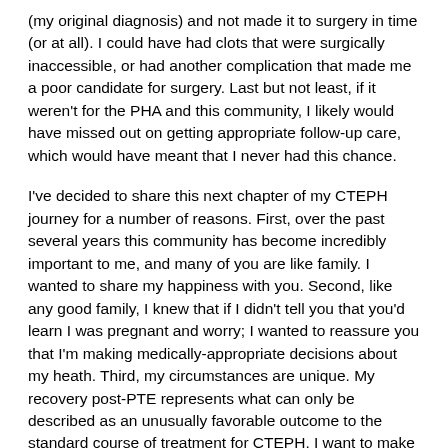(my original diagnosis) and not made it to surgery in time (or at all). I could have had clots that were surgically inaccessible, or had another complication that made me a poor candidate for surgery. Last but not least, if it weren't for the PHA and this community, I likely would have missed out on getting appropriate follow-up care, which would have meant that I never had this chance.
I've decided to share this next chapter of my CTEPH journey for a number of reasons. First, over the past several years this community has become incredibly important to me, and many of you are like family. I wanted to share my happiness with you. Second, like any good family, I knew that if I didn't tell you that you'd learn I was pregnant and worry; I wanted to reassure you that I'm making medically-appropriate decisions about my heath. Third, my circumstances are unique. My recovery post-PTE represents what can only be described as an unusually favorable outcome to the standard course of treatment for CTEPH. I want to make sure that everyone understands that, as well as the fact that I'm doing all of this under the closest medical supervision imaginable. Because of the risks, I would never advocate for any patient in this community to become pregnant without first getting approval